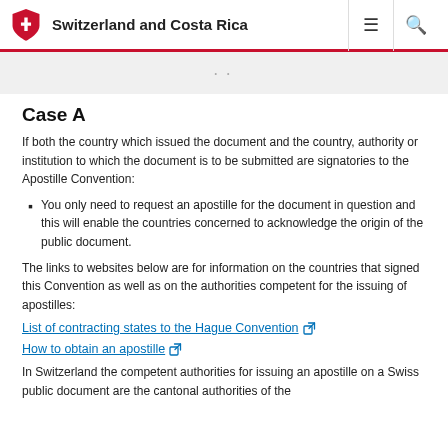Switzerland and Costa Rica
Case A
If both the country which issued the document and the country, authority or institution to which the document is to be submitted are signatories to the Apostille Convention:
You only need to request an apostille for the document in question and this will enable the countries concerned to acknowledge the origin of the public document.
The links to websites below are for information on the countries that signed this Convention as well as on the authorities competent for the issuing of apostilles:
List of contracting states to the Hague Convention ↗
How to obtain an apostille ↗
In Switzerland the competent authorities for issuing an apostille on a Swiss public document are the cantonal authorities of the...